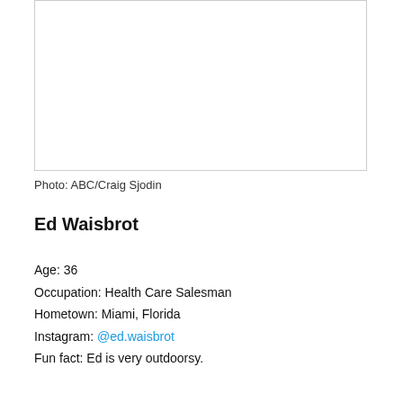[Figure (photo): Photo placeholder box with border]
Photo: ABC/Craig Sjodin
Ed Waisbrot
Age: 36
Occupation: Health Care Salesman
Hometown: Miami, Florida
Instagram: @ed.waisbrot
Fun fact: Ed is very outdoorsy.